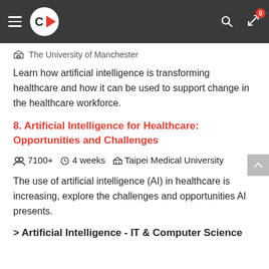Navigation bar with logo, hamburger menu, search, and badge icon showing 0
The University of Manchester
Learn how artificial intelligence is transforming healthcare and how it can be used to support change in the healthcare workforce.
8. Artificial Intelligence for Healthcare: Opportunities and Challenges
👥 7100+  🕐 4 weeks  🏛 Taipei Medical University
The use of artificial intelligence (AI) in healthcare is increasing, explore the challenges and opportunities AI presents.
> Artificial Intelligence - IT & Computer Science